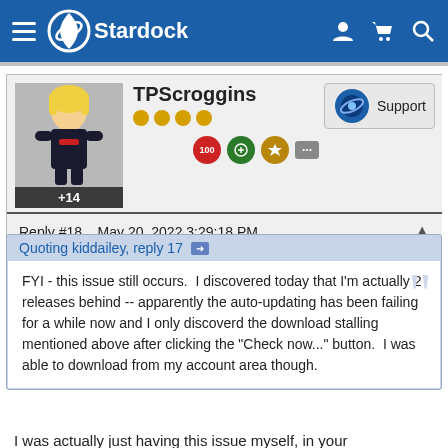Stardock
TPScroggins +14
[Figure (screenshot): Support badge with Stardock planet logo]
Reply #18   May 20, 2022 3:29:18 PM
Quoting kiddailey, reply 17
FYI - this issue still occurs.  I discovered today that I'm actually 2 releases behind -- apparently the auto-updating has been failing for a while now and I only discoverd the download stalling mentioned above after clicking the "Check now..." button.  I was able to download from my account area though.
I was actually just having this issue myself, in your